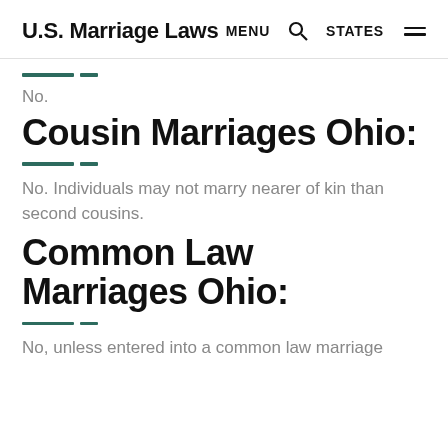U.S. Marriage Laws  MENU  STATES
No.
Cousin Marriages Ohio:
No. Individuals may not marry nearer of kin than second cousins.
Common Law Marriages Ohio:
No, unless entered into a common law marriage